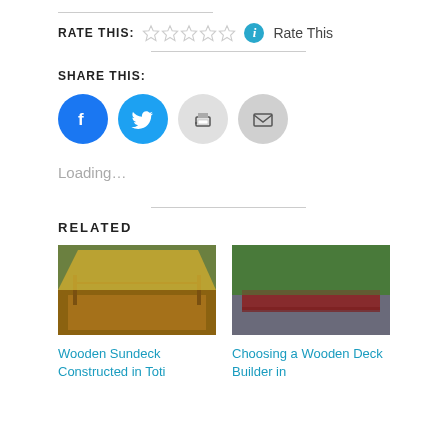RATE THIS: ☆☆☆☆☆ ℹ Rate This
SHARE THIS:
[Figure (other): Social share buttons: Facebook (blue circle with F), Twitter (blue circle with bird), Print (grey circle with printer), Email (grey circle with envelope)]
Loading...
RELATED
[Figure (photo): Wooden sundeck with railing and shade sail, outdoor pool area]
Wooden Sundeck Constructed in Toti
[Figure (photo): Wooden deck boards close-up in outdoor setting]
Choosing a Wooden Deck Builder in